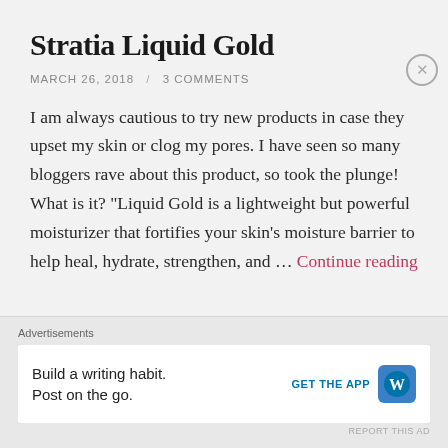Stratia Liquid Gold
MARCH 26, 2018 / 3 COMMENTS
I am always cautious to try new products in case they upset my skin or clog my pores. I have seen so many bloggers rave about this product, so took the plunge! What is it? "Liquid Gold is a lightweight but powerful moisturizer that fortifies your skin's moisture barrier to help heal, hydrate, strengthen, and … Continue reading
Advertisements
Build a writing habit. Post on the go. GET THE APP